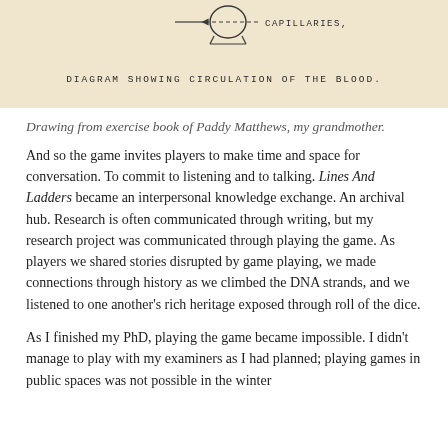[Figure (illustration): Hand-drawn diagram from exercise book showing circulation of the blood, with arrows and labels including 'CAPILLARIES'. Text at bottom reads 'DIAGRAM SHOWING CIRCULATION OF THE BLOOD.']
Drawing from exercise book of Paddy Matthews, my grandmother.
And so the game invites players to make time and space for conversation. To commit to listening and to talking. Lines And Ladders became an interpersonal knowledge exchange. An archival hub. Research is often communicated through writing, but my research project was communicated through playing the game. As players we shared stories disrupted by game playing, we made connections through history as we climbed the DNA strands, and we listened to one another's rich heritage exposed through roll of the dice.
As I finished my PhD, playing the game became impossible. I didn't manage to play with my examiners as I had planned; playing games in public spaces was not possible in the winter